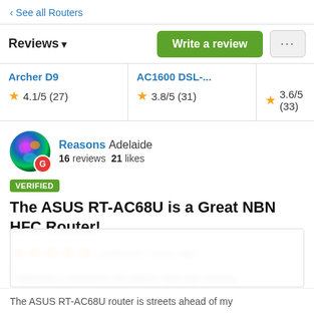‹ See all Routers
Reviews ▾
| Product | Rating |
| --- | --- |
| Archer D9 | ★ 4.1/5 (27) |
| AC1600 DSL-... | ★ 3.8/5 (31) |
| (partial) | ★ 3.6/5 (33) |
Reasons Adelaide
16 reviews 21 likes
VERIFIED
The ASUS RT-AC68U is a Great NBN HFC Router!
★★★★★ published 2 years ago
I replaced a Necomm NF18ACV that was having intermittent 2.4GHz wireless issue with this ASUS
The ASUS RT-AC68U router is streets ahead of my